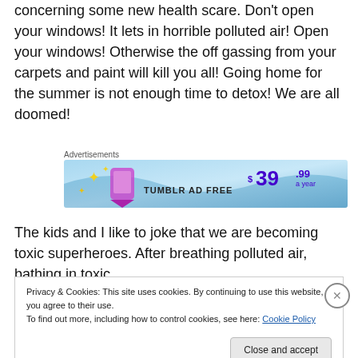concerning some new health scare.  Don't open your windows!  It lets in horrible polluted air!  Open your windows!  Otherwise the off gassing from your carpets and paint will kill you all!  Going home for the summer is not enough time to detox!  We are all doomed!
Advertisements
[Figure (other): Tumblr Ad Free banner advertisement showing $39.99 a year price]
The kids and I like to joke that we are becoming toxic superheroes.  After breathing polluted air, bathing in toxic
Privacy & Cookies: This site uses cookies. By continuing to use this website, you agree to their use.
To find out more, including how to control cookies, see here: Cookie Policy